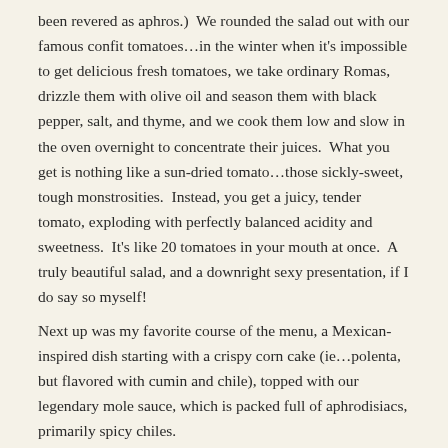been revered as aphros.)  We rounded the salad out with our famous confit tomatoes…in the winter when it's impossible to get delicious fresh tomatoes, we take ordinary Romas, drizzle them with olive oil and season them with black pepper, salt, and thyme, and we cook them low and slow in the oven overnight to concentrate their juices.  What you get is nothing like a sun-dried tomato…those sickly-sweet, tough monstrosities.  Instead, you get a juicy, tender tomato, exploding with perfectly balanced acidity and sweetness.  It's like 20 tomatoes in your mouth at once.  A truly beautiful salad, and a downright sexy presentation, if I do say so myself!
Next up was my favorite course of the menu, a Mexican-inspired dish starting with a crispy corn cake (ie…polenta, but flavored with cumin and chile), topped with our legendary mole sauce, which is packed full of aphrodisiacs, primarily spicy chiles.